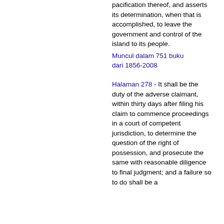pacification thereof, and asserts its determination, when that is accomplished, to leave the government and control of the island to its people.
Muncul dalam 751 buku dari 1856-2008
Halaman 278 - It shall be the duty of the adverse claimant, within thirty days after filing his claim to commence proceedings in a court of competent jurisdiction, to determine the question of the right of possession, and prosecute the same with reasonable diligence to final judgment; and a failure so to do shall be a